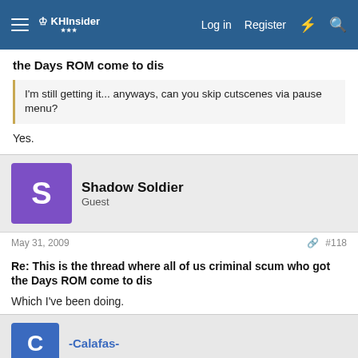Log in  Register
the Days ROM come to dis
I'm still getting it... anyways, can you skip cutscenes via pause menu?
Yes.
Shadow Soldier
Guest
May 31, 2009   #118
Re: This is the thread where all of us criminal scum who got the Days ROM come to dis
Which I've been doing.
-Calafas-